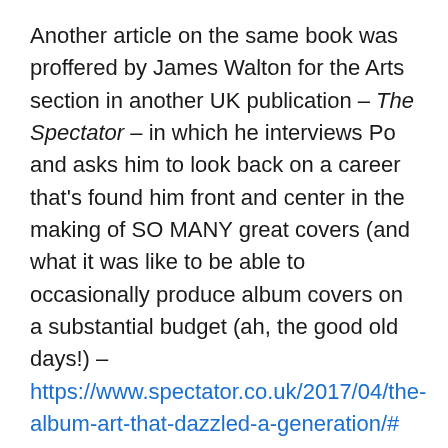Another article on the same book was proffered by James Walton for the Arts section in another UK publication – The Spectator – in which he interviews Po and asks him to look back on a career that's found him front and center in the making of SO MANY great covers (and what it was like to be able to occasionally produce album covers on a substantial budget (ah, the good old days!) – https://www.spectator.co.uk/2017/04/the-album-art-that-dazzled-a-generation/#
5) Other articles of interest –
a) While it's been 20 years since the passing of African world music legend Fela Kuti, the original cover artwork done by the accomplished designer and illustrator Lemi Gharioku continues to fascinate and impress album art